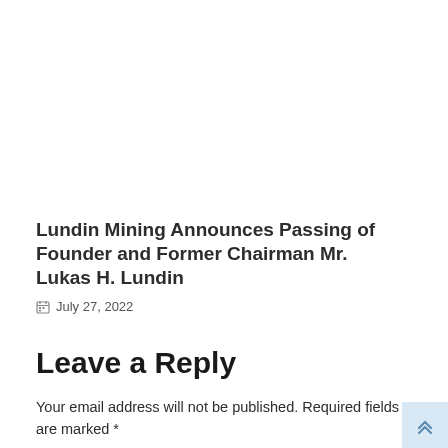Lundin Mining Announces Passing of Founder and Former Chairman Mr. Lukas H. Lundin
July 27, 2022
Leave a Reply
Your email address will not be published. Required fields are marked *